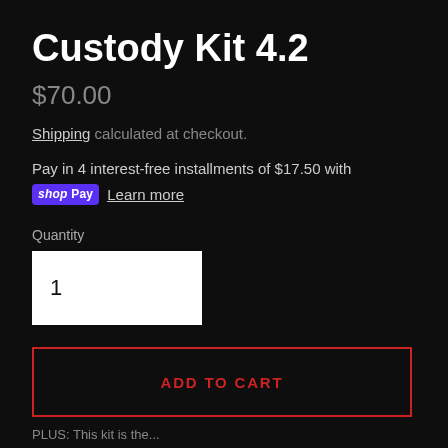Custody Kit 4.2
$70.00
Shipping calculated at checkout.
Pay in 4 interest-free installments of $17.50 with shop Pay Learn more
Quantity
1
ADD TO CART
PLUS: This kit is the...